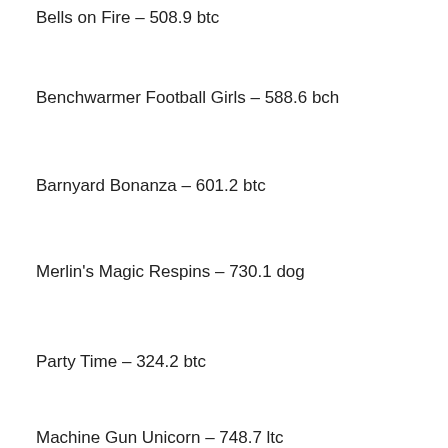Bells on Fire – 508.9 btc
Benchwarmer Football Girls – 588.6 bch
Barnyard Bonanza – 601.2 btc
Merlin's Magic Respins – 730.1 dog
Party Time – 324.2 btc
Machine Gun Unicorn – 748.7 ltc